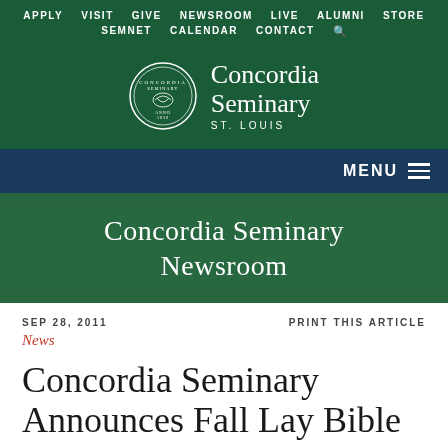APPLY  VISIT  GIVE  NEWSROOM  LIVE  ALUMNI  STORE  SEMNET  CALENDAR  CONTACT
[Figure (logo): Concordia Seminary St. Louis logo with circular seal and text]
MENU
Concordia Seminary Newsroom
SEP 28, 2011
PRINT THIS ARTICLE
News
Concordia Seminary Announces Fall Lay Bible